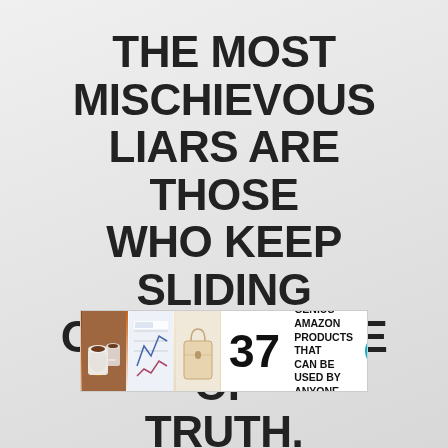THE MOST MISCHIEVOUS LIARS ARE THOSE WHO KEEP SLIDING ON THE VERGE OF TRUTH.
A.W. Hare
[Figure (infographic): Advertisement banner: three small photos (coffee cups, chart/planner, bag), large number 37, text 'GENIUS AMAZON PRODUCTS THAT CAN BE USED BY ANYONE', 22 Words logo]